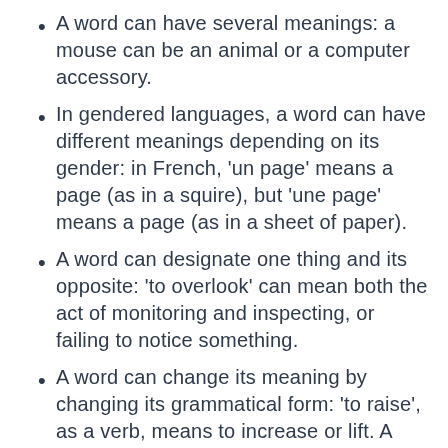A word can have several meanings: a mouse can be an animal or a computer accessory.
In gendered languages, a word can have different meanings depending on its gender: in French, ‘un page’ means a page (as in a squire), but ‘une page’ means a page (as in a sheet of paper).
A word can designate one thing and its opposite: ‘to overlook’ can mean both the act of monitoring and inspecting, or failing to notice something.
A word can change its meaning by changing its grammatical form: ‘to raise’, as a verb, means to increase or lift. A ‘raise’, as a noun, is a promotion at